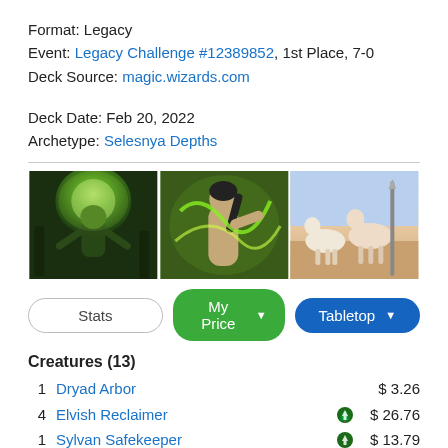Format: Legacy
Event: Legacy Challenge #12389852, 1st Place, 7-0
Deck Source: magic.wizards.com
Deck Date: Feb 20, 2022
Archetype: Selesnya Depths
[Figure (illustration): Three Magic: The Gathering card art images side by side]
Stats | My Price ▾ | Tabletop ▾
Creatures (13)
1  Dryad Arbor   $3.26
4  Elvish Reclaimer  [G]  $26.76
1  Sylvan Safekeeper  [G]  $13.79
1  Outland Liberator  [1][G]  $0.48